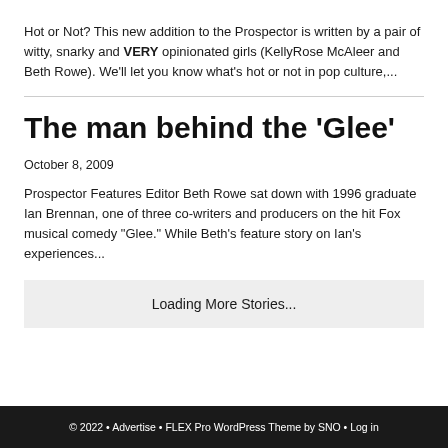Hot or Not? This new addition to the Prospector is written by a pair of witty, snarky and VERY opinionated girls (KellyRose McAleer and Beth Rowe). We'll let you know what's hot or not in pop culture,...
The man behind the 'Glee'
October 8, 2009
Prospector Features Editor Beth Rowe sat down with 1996 graduate Ian Brennan, one of three co-writers and producers on the hit Fox musical comedy "Glee."  While Beth's feature story on Ian's experiences...
Loading More Stories...
© 2022 • Advertise • FLEX Pro WordPress Theme by SNO • Log in